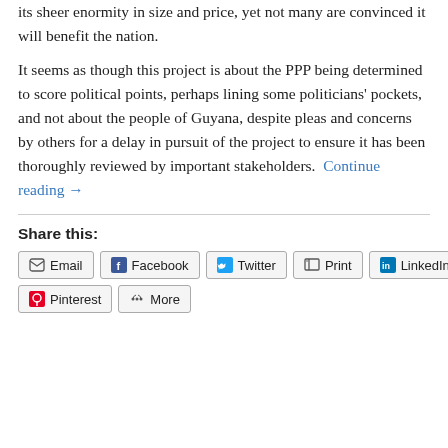its sheer enormity in size and price, yet not many are convinced it will benefit the nation.
It seems as though this project is about the PPP being determined to score political points, perhaps lining some politicians' pockets, and not about the people of Guyana, despite pleas and concerns by others for a delay in pursuit of the project to ensure it has been thoroughly reviewed by important stakeholders. Continue reading →
Share this:
Email
Facebook
Twitter
Print
LinkedIn
Pinterest
More